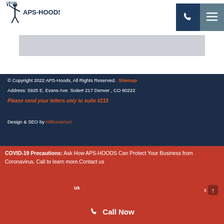[Figure (logo): APS-Hoods logo with figure holding a tool and company name text]
[Figure (other): Phone icon button (dark navy) and hamburger menu icon button (steel blue)]
[Figure (other): Gray banner/advertisement placeholder rectangle]
© Copyright 2022 APS-Hoods, All Rights Reserved. Sitemap
Address: 5925 E. Evans Ave. Suite# 217 Denver , CO 80222
Please send your letters only to suite #215
Design & SEO by Millionairium
COVID-19 Precautions: Ask How APS-HOODS Can Protect Your Business from Coronavirus. Call to learn more. Contact us
Call Now